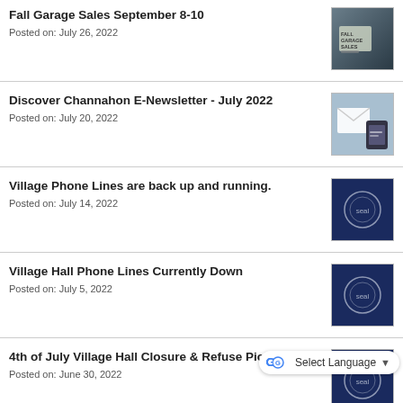Fall Garage Sales September 8-10
Posted on: July 26, 2022
Discover Channahon E-Newsletter - July 2022
Posted on: July 20, 2022
Village Phone Lines are back up and running.
Posted on: July 14, 2022
Village Hall Phone Lines Currently Down
Posted on: July 5, 2022
4th of July Village Hall Closure & Refuse Pickup Delay
Posted on: June 30, 2022
Road Closure Notification: McClintock